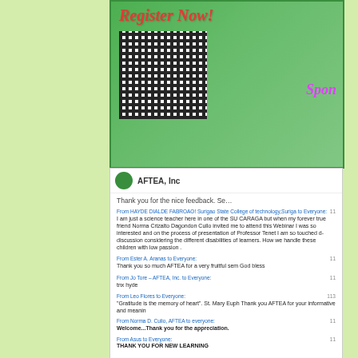[Figure (photo): Green promotional banner with 'Register Now!' text in red italic, a QR code in the center, and partial 'Spon' text in purple italic on the right, on a green gradient background.]
[Figure (screenshot): Screenshot of AFTEA, Inc. chat/messaging interface showing multiple chat messages with feedback and thank you notes from various participants including Hayde Dialde Fabroao from Surigao State College of Technology, Ester A. Aranas, Jo Tore from AFTEA Inc., Leo Flores, Norma D. Culio, and Asus.]